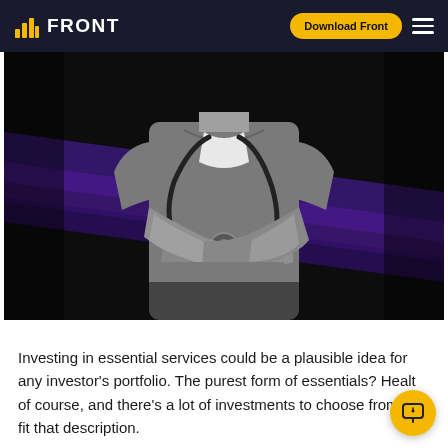FRONT | Download Front
[Figure (photo): Black and white photo of a doctor/medical professional in scrubs with a stethoscope, arms crossed, against a dark background with purple diagonal stripe elements.]
Investing in essential services could be a plausible idea for any investor's portfolio. The purest form of essentials? Health of course, and there's a lot of investments to choose from that fit that description.